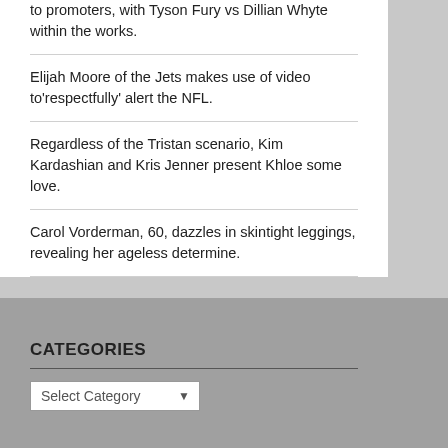to promoters, with Tyson Fury vs Dillian Whyte within the works.
Elijah Moore of the Jets makes use of video to'respectfully' alert the NFL.
Regardless of the Tristan scenario, Kim Kardashian and Kris Jenner present Khloe some love.
Carol Vorderman, 60, dazzles in skintight leggings, revealing her ageless determine.
CATEGORIES